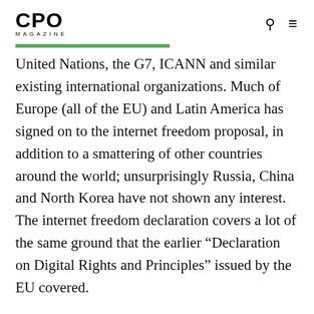CPO MAGAZINE
United Nations, the G7, ICANN and similar existing international organizations. Much of Europe (all of the EU) and Latin America has signed on to the internet freedom proposal, in addition to a smattering of other countries around the world; unsurprisingly Russia, China and North Korea have not shown any interest. The internet freedom declaration covers a lot of the same ground that the earlier “Declaration on Digital Rights and Principles” issued by the EU covered.
The declaration cites a study by Freedom